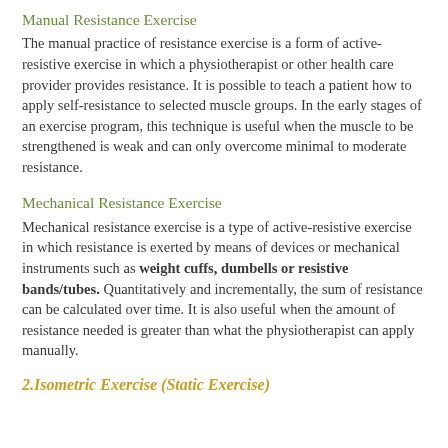Manual Resistance Exercise
The manual practice of resistance exercise is a form of active-resistive exercise in which a physiotherapist or other health care provider provides resistance. It is possible to teach a patient how to apply self-resistance to selected muscle groups. In the early stages of an exercise program, this technique is useful when the muscle to be strengthened is weak and can only overcome minimal to moderate resistance.
Mechanical Resistance Exercise
Mechanical resistance exercise is a type of active-resistive exercise in which resistance is exerted by means of devices or mechanical instruments such as weight cuffs, dumbells or resistive bands/tubes. Quantitatively and incrementally, the sum of resistance can be calculated over time. It is also useful when the amount of resistance needed is greater than what the physiotherapist can apply manually.
2.Isometric Exercise (Static Exercise)